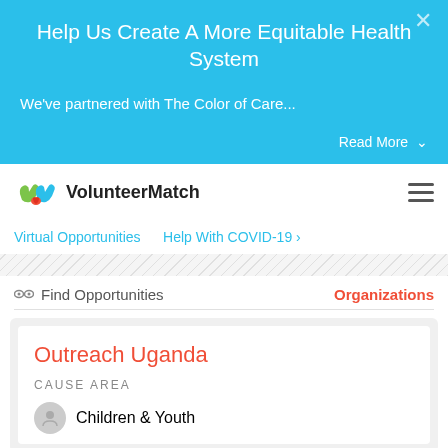Help Us Create A More Equitable Health System
We've partnered with The Color of Care...
Read More ∨
[Figure (logo): VolunteerMatch logo with two hands (green and blue) and a red heart]
VolunteerMatch
Virtual Opportunities    Help With COVID-19 ›
🔭 Find Opportunities
Organizations
Outreach Uganda
Cause Area
Children & Youth